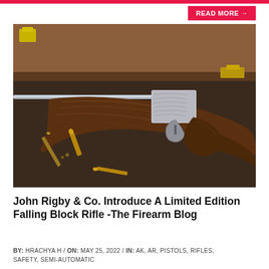READ MORE →
[Figure (photo): A John Rigby & Co. falling block rifle with engraved receiver and figured wood stock, lying on a dark velvet surface next to brass cartridges, with a brown leather gun case in the background.]
John Rigby & Co. Introduce A Limited Edition Falling Block Rifle -The Firearm Blog
BY: HRACHYA H / ON: MAY 25, 2022 / IN: AK, AR, PISTOLS, RIFLES, SAFETY, SEMI-AUTOMATIC